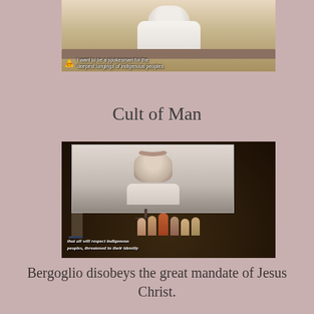[Figure (screenshot): Video screenshot of a person in white robes seated at a desk, with subtitle text: 'I want to be a spokesman for the deepest longings of indigenous peoples' and a CT logo in the lower left corner.]
Cult of Man
[Figure (screenshot): Video screenshot showing a large projection screen displaying a person in white robes, with an audience of indigenous people in traditional dress standing below, and subtitle text: 'that all will respect indigenous peoples, threatened in their identity']
Bergoglio disobeys the great mandate of Jesus Christ.